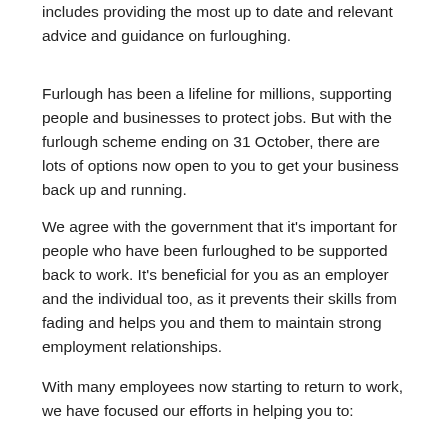includes providing the most up to date and relevant advice and guidance on furloughing.
Furlough has been a lifeline for millions, supporting people and businesses to protect jobs. But with the furlough scheme ending on 31 October, there are lots of options now open to you to get your business back up and running.
We agree with the government that it’s important for people who have been furloughed to be supported back to work. It’s beneficial for you as an employer and the individual too, as it prevents their skills from fading and helps you and them to maintain strong employment relationships.
With many employees now starting to return to work, we have focused our efforts in helping you to:
Ensure they feel safe and secure when...